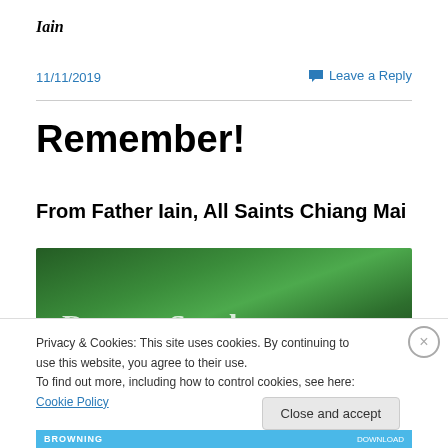Iain
11/11/2019
💬 Leave a Reply
Remember!
From Father Iain, All Saints Chiang Mai
[Figure (photo): Green banner image with partial white text visible]
Privacy & Cookies: This site uses cookies. By continuing to use this website, you agree to their use.
To find out more, including how to control cookies, see here: Cookie Policy
Close and accept